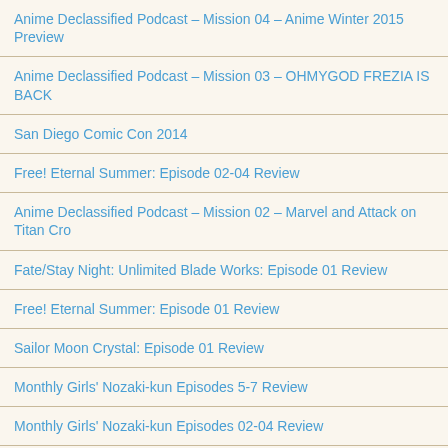Anime Declassified Podcast – Mission 04 – Anime Winter 2015 Preview
Anime Declassified Podcast – Mission 03 – OHMYGOD FREZIA IS BACK
San Diego Comic Con 2014
Free! Eternal Summer: Episode 02-04 Review
Anime Declassified Podcast – Mission 02 – Marvel and Attack on Titan Cro
Fate/Stay Night: Unlimited Blade Works: Episode 01 Review
Free! Eternal Summer: Episode 01 Review
Sailor Moon Crystal: Episode 01 Review
Monthly Girls' Nozaki-kun Episodes 5-7 Review
Monthly Girls' Nozaki-kun Episodes 02-04 Review
Captain Earth: Final Review
Captain Earth: Episode 20-22 Review
Persona 4 The Golden Animation: Final Review
Captain Earth: Episode 17-19 Review